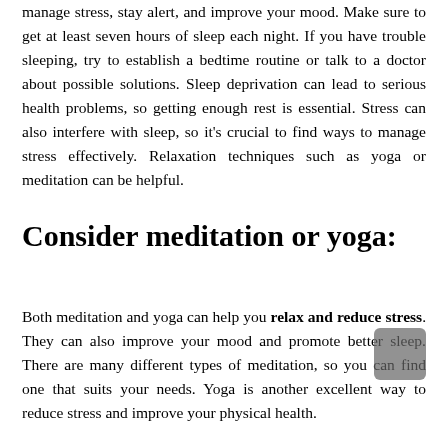manage stress, stay alert, and improve your mood. Make sure to get at least seven hours of sleep each night. If you have trouble sleeping, try to establish a bedtime routine or talk to a doctor about possible solutions. Sleep deprivation can lead to serious health problems, so getting enough rest is essential. Stress can also interfere with sleep, so it's crucial to find ways to manage stress effectively. Relaxation techniques such as yoga or meditation can be helpful.
Consider meditation or yoga:
Both meditation and yoga can help you relax and reduce stress. They can also improve your mood and promote better sleep. There are many different types of meditation, so you can find one that suits your needs. Yoga is another excellent way to reduce stress and improve your physical health.